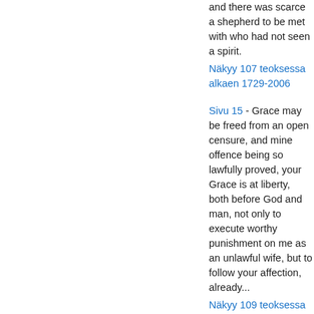and there was scarce a shepherd to be met with who had not seen a spirit.
Näkyy 107 teoksessa alkaen 1729-2006
Sivu 15 - Grace may be freed from an open censure, and mine offence being so lawfully proved, your Grace is at liberty, both before God and man, not only to execute worthy punishment on me as an unlawful wife, but to follow your affection, already...
Näkyy 109 teoksessa alkaen 1729-2007
Sivu 218 - Has made my eye run clor. And in a